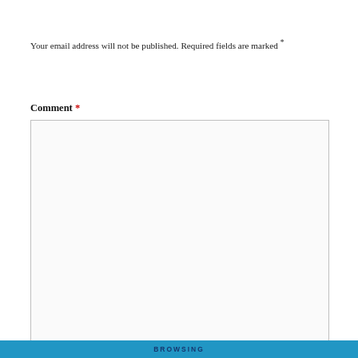Your email address will not be published. Required fields are marked *
Comment *
[Figure (screenshot): Empty comment textarea input box with resize handle in bottom-right corner]
Privacy & Cookies: This site uses cookies. By continuing to use this website, you agree to their use.
To find out more, including how to control cookies, see here: Cookie Policy
Close and accept
BROWSING